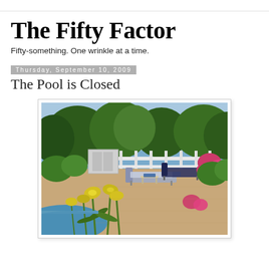The Fifty Factor
Fifty-something. One wrinkle at a time.
Thursday, September 10, 2009
The Pool is Closed
[Figure (photo): Outdoor pool area with lounge chairs, white fence/railing, yellow lilies in the foreground, lush green trees and flowering shrubs in the background, blue pool water visible at bottom left.]